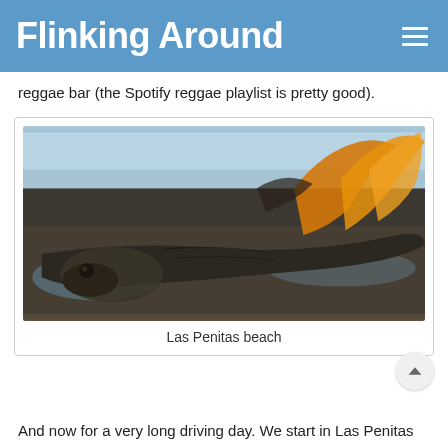Flinking Around
reggae bar (the Spotify reggae playlist is pretty good).
[Figure (photo): Close-up photograph of a dead or beached fish/stingray on wet sand and rocks at Las Penitas beach. The creature has dark skin with orange/amber fin-like protrusions visible against a background of water and sky.]
Las Penitas beach
And now for a very long driving day. We start in Las Penitas